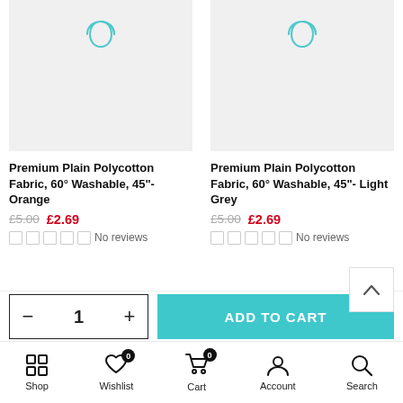[Figure (photo): Product image placeholder for Premium Plain Polycotton Fabric Orange — grey background with teal infinity/loop icon]
[Figure (photo): Product image placeholder for Premium Plain Polycotton Fabric Light Grey — grey background with teal infinity/loop icon]
Premium Plain Polycotton Fabric, 60° Washable, 45"-Orange
£5.00  £2.69
No reviews
Premium Plain Polycotton Fabric, 60° Washable, 45"-Light Grey
£5.00  £2.69
No reviews
- 1 + ADD TO CART
Shop  Wishlist  Cart  Account  Search